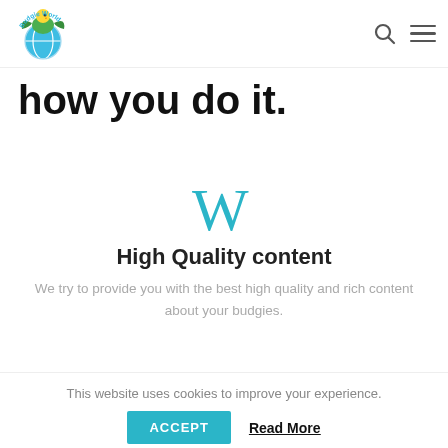Budgie World logo, search icon, menu icon
how you do it.
[Figure (logo): Stylized W letter icon in teal/cyan color, resembling the Wikipedia 'W' logo]
High Quality content
We try to provide you with the best high quality and rich content about your budgies.
This website uses cookies to improve your experience.
ACCEPT  Read More